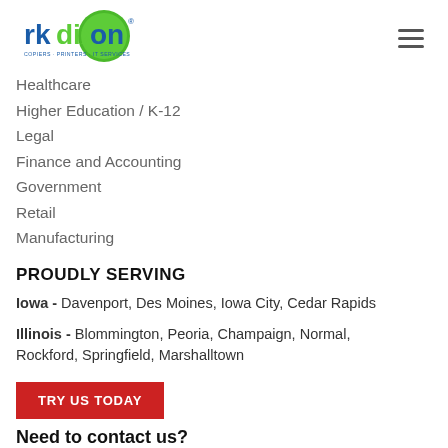[Figure (logo): rkdixon logo with green circle and text 'COPIERS · PRINTERS · IT SERVICES']
Healthcare
Higher Education / K-12
Legal
Finance and Accounting
Government
Retail
Manufacturing
PROUDLY SERVING
Iowa - Davenport, Des Moines, Iowa City, Cedar Rapids
Illinois - Blommington, Peoria, Champaign, Normal, Rockford, Springfield, Marshalltown
TRY US TODAY
Need to contact us?